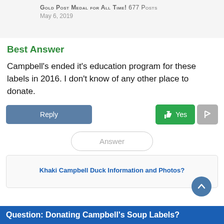Gold Post Medal for All Time! 677 Posts
May 6, 2019
Best Answer
Campbell's ended it's education program for these labels in 2016. I don't know of any other place to donate.
Reply | Yes | [flag]
Answer
Khaki Campbell Duck Information and Photos?
Question: Donating Campbell's Soup Labels?